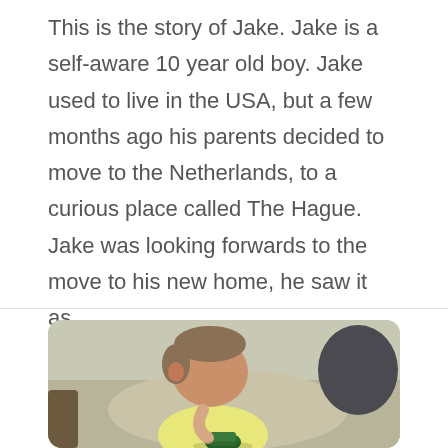This is the story of Jake. Jake is a self-aware 10 year old boy. Jake used to live in the USA, but a few months ago his parents decided to move to the Netherlands, to a curious place called The Hague. Jake was looking forwards to the move to his new home, he saw it as...
read more
[Figure (photo): A young child with short hair wearing a yellow shirt, viewed from the side/back, looking down at a small green toy or object. The background shows a sandy/gravelly outdoor area and some dark objects.]